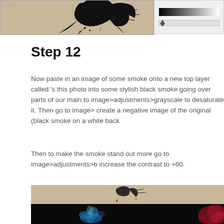[Figure (screenshot): Top left: a textured beige background with black ink splash/splatter artwork showing a figure]
[Figure (screenshot): Top right: Photoshop levels/curves adjustment panel showing a black-to-white gradient bar with a slider thumb]
Step 12
Now paste in an image of some smoke onto a new top layer called 's this photo into some stylish black smoke going over parts of our main to image>adjustments>grayscale to desaturate it. Then go to image> create a negative image of the original (black smoke on a white back
Then to make the smoke stand out more go to image>adjustments>b increase the contrast to +60.
[Figure (screenshot): Bottom image: composite showing the beige textured background with ink splatter on top, and below it a black panel with colorful smoke (blue on left, red on right)]